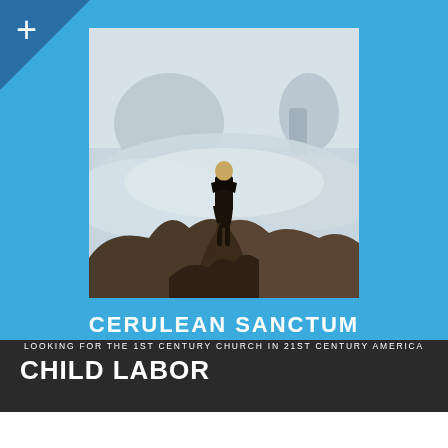[Figure (illustration): Caspar David Friedrich's 'Wanderer above the Sea of Fog' painting showing a man in a dark coat standing on a rocky peak overlooking a misty foggy landscape with mountains in the background]
CERULEAN SANCTUM
LOOKING FOR THE 1ST CENTURY CHURCH IN 21ST CENTURY AMERICA
CHILD LABOR